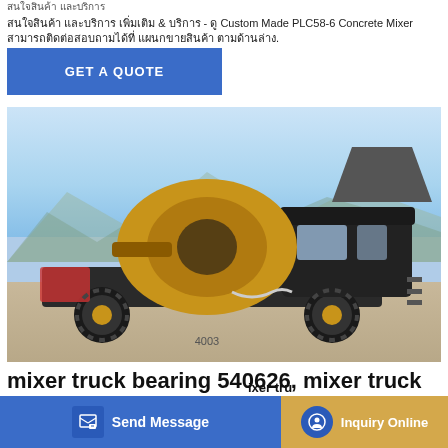สนใจสินค้า และบริการ - ดูเพิ่มเติม Custom Made PLC58-6 Concrete Mixer สามารถติดต่อสอบถามได้ที่ แผนกขายสินค้า ตามด้านล่าง.
[Figure (other): Blue button with text GET A QUOTE]
[Figure (photo): A yellow self-loading concrete mixer truck (model 4003) parked outdoors with mountains in background]
mixer truck bearing 540626, mixer truck
mixer tru
[Figure (other): Bottom bar with Send Message button (blue) and Inquiry Online button (gold/yellow)]